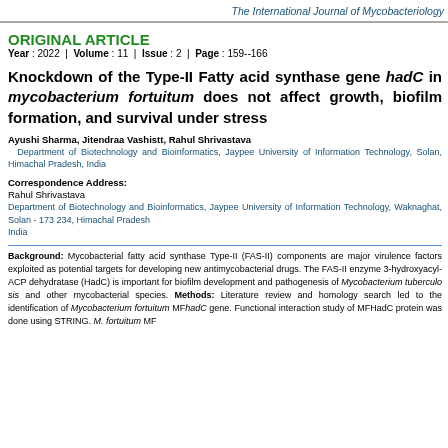The International Journal of Mycobacteriology
ORIGINAL ARTICLE
Year : 2022 | Volume : 11 | Issue : 2 | Page : 159--166
Knockdown of the Type-II Fatty acid synthase gene hadC in mycobacterium fortuitum does not affect growth, biofilm formation, and survival under stress
Ayushi Sharma, Jitendraa Vashistt, Rahul Shrivastava
Department of Biotechnology and Bioinformatics, Jaypee University of Information Technology, Solan, Himachal Pradesh, India
Correspondence Address:
Rahul Shrivastava
Department of Biotechnology and Bioinformatics, Jaypee University of Information Technology, Waknaghat, Solan - 173 234, Himachal Pradesh
India
Background: Mycobacterial fatty acid synthase Type-II (FAS-II) components are major virulence factors exploited as potential targets for developing new antimycobacterial drugs. The FAS-II enzyme 3-hydroxyacyl-ACP dehydratase (HadC) is important for biofilm development and pathogenesis of Mycobacterium tuberculosis and other mycobacterial species. Methods: Literature review and homology search led to the identification of Mycobacterium fortuitum MFhadC gene. Functional interaction study of MFHadC protein was done using STRING. M. fortuitum MF...